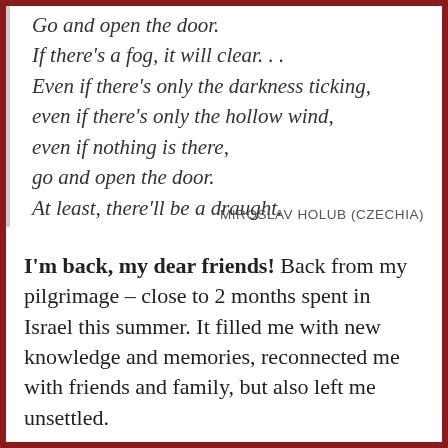Go and open the door.
If there's a fog, it will clear. . .
Even if there's only the darkness ticking,
even if there's only the hollow wind,
even if nothing is there,
go and open the door.
At least, there'll be a draught.
MIROSLAV HOLUB (CZECHIA)
I'm back, my dear friends! Back from my pilgrimage – close to 2 months spent in Israel this summer. It filled me with new knowledge and memories, reconnected me with friends and family, but also left me unsettled.